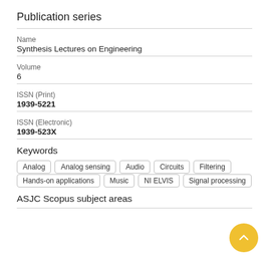Publication series
| Field | Value |
| --- | --- |
| Name | Synthesis Lectures on Engineering |
| Volume | 6 |
| ISSN (Print) | 1939-5221 |
| ISSN (Electronic) | 1939-523X |
Keywords
Analog
Analog sensing
Audio
Circuits
Filtering
Hands-on applications
Music
NI ELVIS
Signal processing
ASJC Scopus subject areas